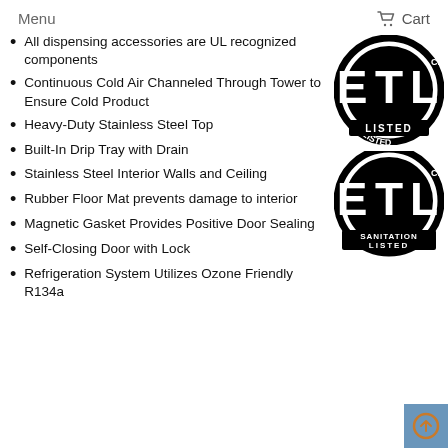Menu   Cart
All dispensing accessories are UL recognized components
Continuous Cold Air Channeled Through Tower to Ensure Cold Product
[Figure (logo): ETL Listed circular logo mark — black circle with bold letters E, T, L and 'LISTED' at the bottom]
Heavy-Duty Stainless Steel Top
Built-In Drip Tray with Drain
Stainless Steel Interior Walls and Ceiling
[Figure (logo): ETL Sanitation Listed circular logo mark — black circle with bold letters E, T, L and 'SANITATION LISTED' at the bottom]
Rubber Floor Mat prevents damage to interior
Magnetic Gasket Provides Positive Door Sealing
Self-Closing Door with Lock
Refrigeration System Utilizes Ozone Friendly R134a